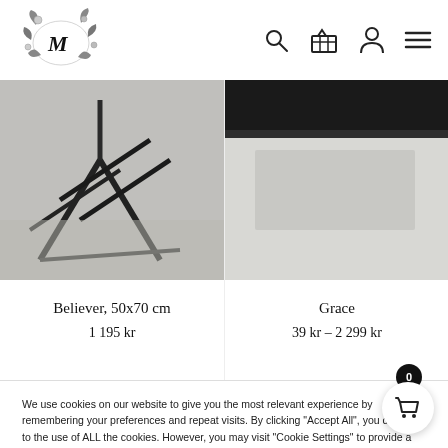[Figure (logo): Decorative floral/botanical logo with letters M]
[Figure (illustration): Navigation icons: search (magnifying glass), shopping basket, user/person, hamburger menu]
[Figure (photo): Product photo left: dark bicycle/abstract art piece, 50x70 cm]
[Figure (photo): Product photo right: Grace artwork, partially visible]
Believer, 50x70 cm
1 195 kr
Grace
39 kr – 2 299 kr
We use cookies on our website to give you the most relevant experience by remembering your preferences and repeat visits. By clicking "Accept All", you consent to the use of ALL the cookies. However, you may visit "Cookie Settings" to provide a controlled consent.
Cookie Settings
Accept All